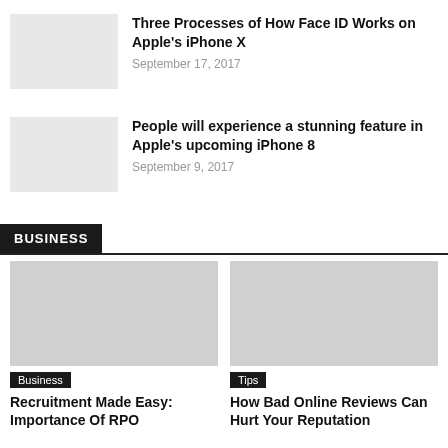Three Processes of How Face ID Works on Apple's iPhone X
September 17, 2017
People will experience a stunning feature in Apple's upcoming iPhone 8
September 9, 2017
BUSINESS
Business
Recruitment Made Easy: Importance Of RPO
Tips
How Bad Online Reviews Can Hurt Your Reputation